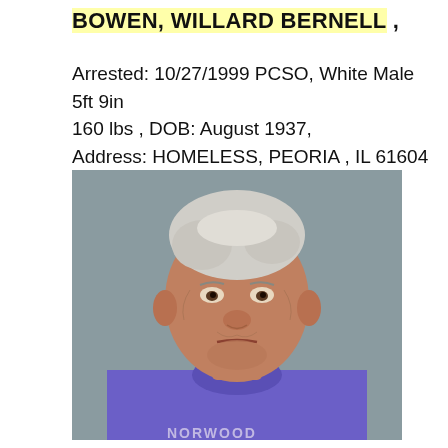BOWEN, WILLARD BERNELL ,
Arrested: 10/27/1999 PCSO, White Male 5ft 9in 160 lbs , DOB: August 1937, Address: HOMELESS, PEORIA , IL 61604
[Figure (photo): Mugshot photo of an elderly white male with short gray/white hair, wearing a purple t-shirt with partial text visible at bottom. Subject has a weathered face and is photographed against a gray background.]